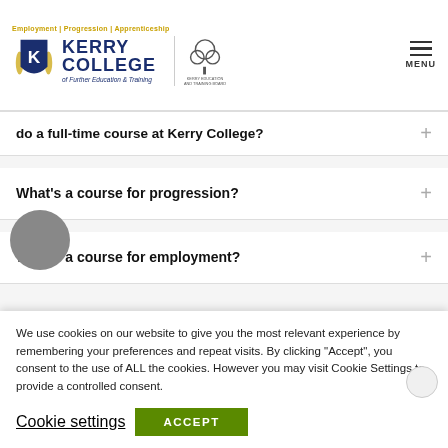[Figure (logo): Kerry College logo with shield, college name, ETB logo, and tagline 'Employment | Progression | Apprenticeship']
do a full-time course at Kerry College?
What's a course for progression?
What's a course for employment?
We use cookies on our website to give you the most relevant experience by remembering your preferences and repeat visits. By clicking “Accept”, you consent to the use of ALL the cookies. However you may visit Cookie Settings to provide a controlled consent.
Cookie settings
ACCEPT